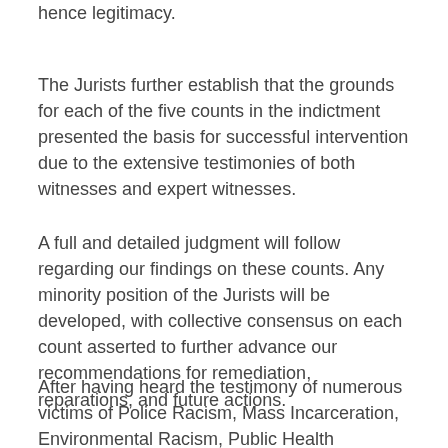hence legitimacy.
The Jurists further establish that the grounds for each of the five counts in the indictment presented the basis for successful intervention due to the extensive testimonies of both witnesses and expert witnesses.
A full and detailed judgment will follow regarding our findings on these counts. Any minority position of the Jurists will be developed, with collective consensus on each count asserted to further advance our recommendations for remediation, reparations, and future actions.
After having heard the testimony of numerous victims of Police Racism, Mass Incarceration, Environmental Racism, Public Health Inequities and of Political Prisoners/Prisoners of War,